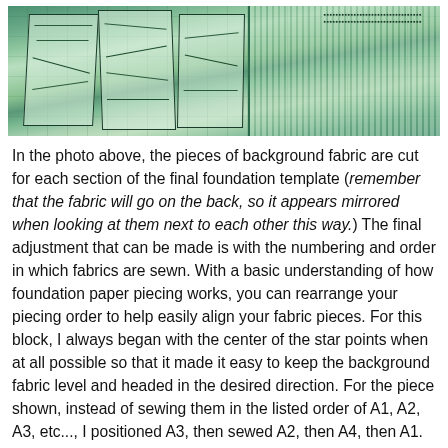[Figure (photo): Photo of fabric pattern pieces laid out on a teal/green cutting mat, showing multiple paper piecing template sections with drawn lines, placed next to each other showing the mirrored arrangement.]
In the photo above, the pieces of background fabric are cut for each section of the final foundation template (remember that the fabric will go on the back, so it appears mirrored when looking at them next to each other this way.) The final adjustment that can be made is with the numbering and order in which fabrics are sewn. With a basic understanding of how foundation paper piecing works, you can rearrange your piecing order to help easily align your fabric pieces. For this block, I always began with the center of the star points when at all possible so that it made it easy to keep the background fabric level and headed in the desired direction. For the piece shown, instead of sewing them in the listed order of A1, A2, A3, etc..., I positioned A3, then sewed A2, then A4, then A1.  This way, I only had one angled seam to line up properly (A5 to A6) in the entire block.